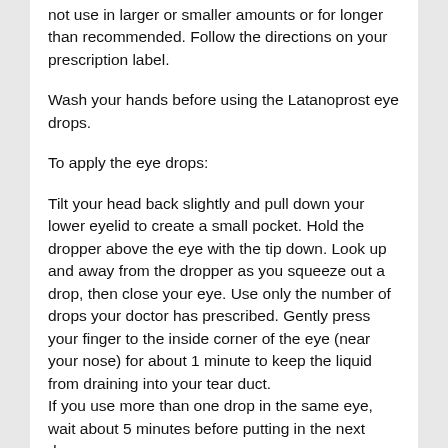not use in larger or smaller amounts or for longer than recommended. Follow the directions on your prescription label.
Wash your hands before using the Latanoprost eye drops.
To apply the eye drops:
Tilt your head back slightly and pull down your lower eyelid to create a small pocket. Hold the dropper above the eye with the tip down. Look up and away from the dropper as you squeeze out a drop, then close your eye. Use only the number of drops your doctor has prescribed. Gently press your finger to the inside corner of the eye (near your nose) for about 1 minute to keep the liquid from draining into your tear duct.
If you use more than one drop in the same eye, wait about 5 minutes before putting in the next drop.
Wait at least 10 minutes before using any other eye drops that your doctor has prescribed.
Do not allow the tip of the Latanoprost dropper to touch